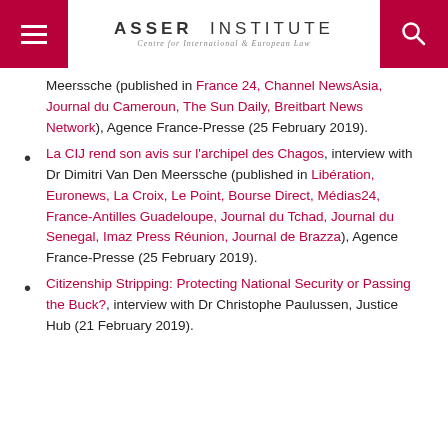ASSER INSTITUTE — Centre for International & European Law
Meerssche (published in France 24, Channel NewsAsia, Journal du Cameroun, The Sun Daily, Breitbart News Network), Agence France-Presse (25 February 2019).
La CIJ rend son avis sur l'archipel des Chagos, interview with Dr Dimitri Van Den Meerssche (published in Libération, Euronews, La Croix, Le Point, Bourse Direct, Médias24, France-Antilles Guadeloupe, Journal du Tchad, Journal du Senegal, Imaz Press Réunion, Journal de Brazza), Agence France-Presse (25 February 2019).
Citizenship Stripping: Protecting National Security or Passing the Buck?, interview with Dr Christophe Paulussen, Justice Hub (21 February 2019).